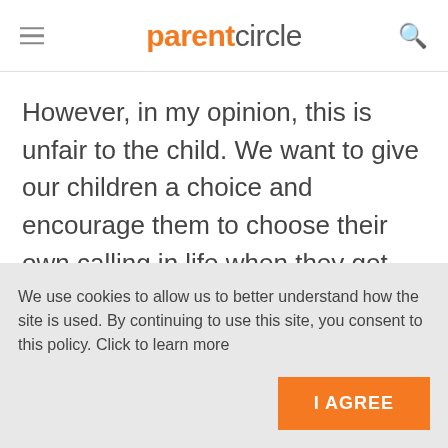parentcircle
However, in my opinion, this is unfair to the child. We want to give our children a choice and encourage them to choose their own calling in life when they get older. Children should not feel pressurised to do what they do not want to do. They should not feel
We use cookies to allow us to better understand how the site is used. By continuing to use this site, you consent to this policy. Click to learn more
I AGREE